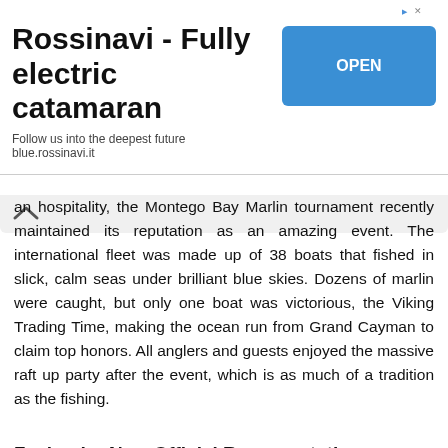[Figure (other): Advertisement banner for Rossinavi - Fully electric catamaran with an OPEN button and tagline 'Follow us into the deepest future blue.rossinavi.it']
an hospitality, the Montego Bay Marlin tournament recently maintained its reputation as an amazing event. The international fleet was made up of 38 boats that fished in slick, calm seas under brilliant blue skies. Dozens of marlin were caught, but only one boat was victorious, the Viking Trading Time, making the ocean run from Grand Cayman to claim top honors. All anglers and guests enjoyed the massive raft up party after the event, which is as much of a tradition as the fishing.
Zeelander New Official Representative
Zeelander's collaboration with the experts at Northrop and Johnson doesn't stop at the Kata Rocks Superyacht Rendezvous! The appointment of Northrop and Johnson as the official Zeelander representative in Asia. With several offices ideally located all over the region, Northrop and